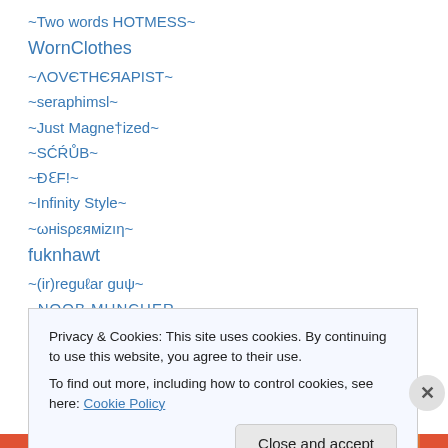~Two words HOTMESS~
WornClothes
~ΛOVЄTHЄЯAPIST~
~seraphimsl~
~Just Magnetized~
~SĆŔŮB~
~ĐƐF!~
~Infinity Style~
~ωнisρεямizıη~
fuknhawt
~(ir)reguℓar guψ~
~NOOB MUNCHER~
~Holli Poket Picks~
Privacy & Cookies: This site uses cookies. By continuing to use this website, you agree to their use.
To find out more, including how to control cookies, see here: Cookie Policy